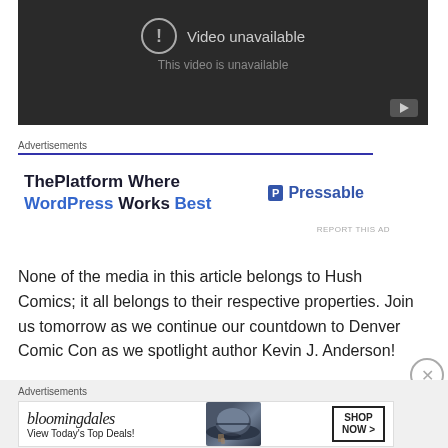[Figure (screenshot): YouTube video player showing 'Video unavailable' error with exclamation icon and subtitle 'This video is unavailable' on dark background]
Advertisements
[Figure (other): Advertisement banner for Pressable: 'ThePlatform Where WordPress Works Best' with Pressable logo]
None of the media in this article belongs to Hush Comics; it all belongs to their respective properties. Join us tomorrow as we continue our countdown to Denver Comic Con as we spotlight author Kevin J. Anderson!
Advertisements
[Figure (other): Bloomingdale's advertisement with woman in hat: 'View Today's Top Deals!' and 'SHOP NOW >']